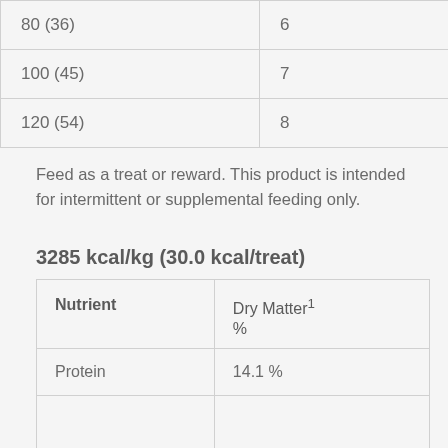| Weight | Treats |
| --- | --- |
| 80 (36) | 6 |
| 100 (45) | 7 |
| 120 (54) | 8 |
Feed as a treat or reward. This product is intended for intermittent or supplemental feeding only.
3285 kcal/kg (30.0 kcal/treat)
| Nutrient | Dry Matter¹ % |
| --- | --- |
| Protein | 14.1 % |
|  |  |